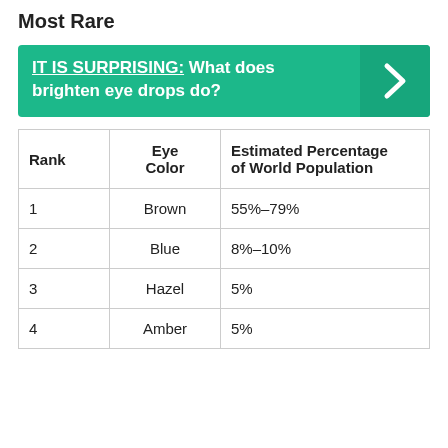Most Rare
[Figure (infographic): Teal banner with text: IT IS SURPRISING: What does brighten eye drops do? with a right-arrow chevron on the right side.]
| Rank | Eye Color | Estimated Percentage of World Population |
| --- | --- | --- |
| 1 | Brown | 55%–79% |
| 2 | Blue | 8%–10% |
| 3 | Hazel | 5% |
| 4 | Amber | 5% |